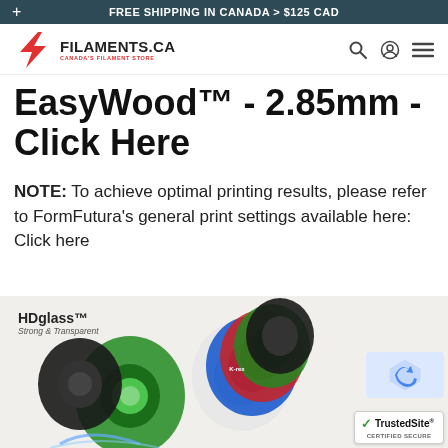FREE SHIPPING IN CANADA > $125 CAD
[Figure (logo): Filaments.ca logo with red lightning bolt / F icon and text FILAMENTS.CA CANADA'S FILAMENT STORE]
EasyWood™ - 2.85mm - Click Here
NOTE: To achieve optimal printing results, please refer to FormFutura's general print settings available here: Click here
[Figure (photo): Product photo showing filament spools including green HDglass spool and multi-colored filament spools on the right, with HDglass Strong & Transparent label. TrustedSite certified secure badge visible.]